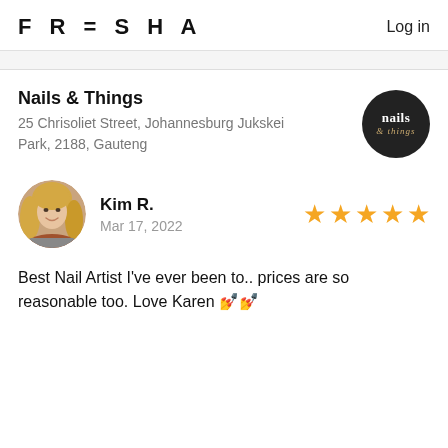FRESHA  Log in
Nails & Things
25 Chrisoliet Street, Johannesburg Jukskei Park, 2188, Gauteng
[Figure (logo): Nails & Things circular logo, dark background with white 'nails' text and gold '& things' script]
[Figure (photo): Round profile photo of Kim R., a blonde woman]
Kim R.
Mar 17, 2022
★★★★★ (5 stars)
Best Nail Artist I've ever been to.. prices are so reasonable too. Love Karen 💅💅